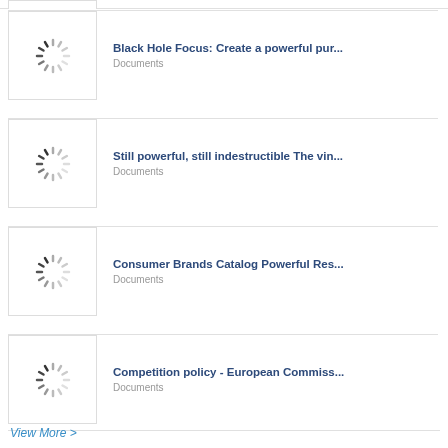[Figure (other): Thumbnail placeholder with loading spinner]
Black Hole Focus: Create a powerful pur...
Documents
[Figure (other): Thumbnail placeholder with loading spinner]
Still powerful, still indestructible The vin...
Documents
[Figure (other): Thumbnail placeholder with loading spinner]
Consumer Brands Catalog Powerful Res...
Documents
[Figure (other): Thumbnail placeholder with loading spinner]
Competition policy - European Commiss...
Documents
View More >